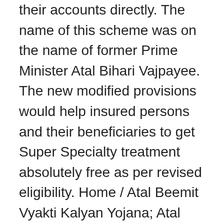their accounts directly. The name of this scheme was on the name of former Prime Minister Atal Bihari Vajpayee. The new modified provisions would help insured persons and their beneficiaries to get Super Specialty treatment absolutely free as per revised eligibility. Home / Atal Beemit Vyakti Kalyan Yojana; Atal Beemit Vyakti Kalyan Yojana. To make this process easy and paperless candidate can make this process online to for which they need to follow some simple steps which are –. To apply through the offline process, These steps have to follow. 15,000/- being paid on the death of Insured Person. After that you have to fill up the form and then submit it to any branch of ESIC.